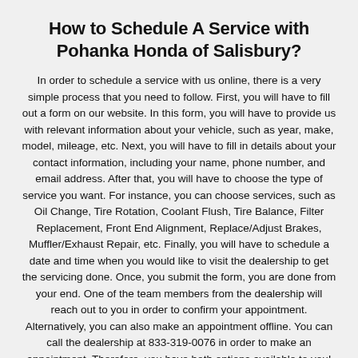How to Schedule A Service with Pohanka Honda of Salisbury?
In order to schedule a service with us online, there is a very simple process that you need to follow. First, you will have to fill out a form on our website. In this form, you will have to provide us with relevant information about your vehicle, such as year, make, model, mileage, etc. Next, you will have to fill in details about your contact information, including your name, phone number, and email address. After that, you will have to choose the type of service you want. For instance, you can choose services, such as Oil Change, Tire Rotation, Coolant Flush, Tire Balance, Filter Replacement, Front End Alignment, Replace/Adjust Brakes, Muffler/Exhaust Repair, etc. Finally, you will have to schedule a date and time when you would like to visit the dealership to get the servicing done. Once, you submit the form, you are done from your end. One of the team members from the dealership will reach out to you in order to confirm your appointment. Alternatively, you can also make an appointment offline. You can call the dealership at 833-319-0076 in order to make an appointment. Therefore, you have both options available to you!